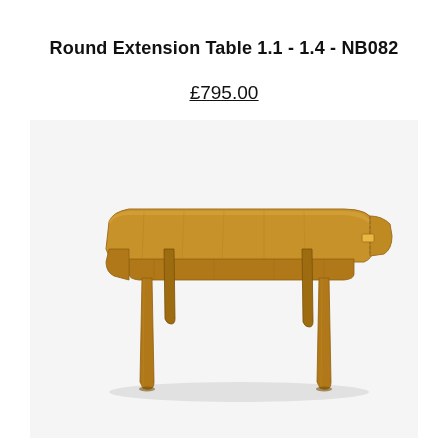Round Extension Table 1.1 - 1.4 - NB082
£795.00
[Figure (photo): A wooden oak extension dining table with rounded corners, shown extended with a pull-out leaf visible on the right side. The table has four sturdy square legs and a warm honey-oak finish.]